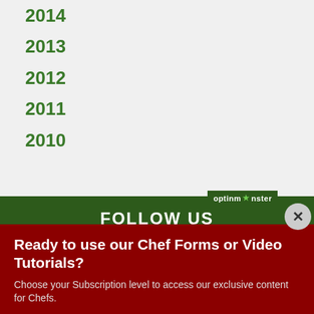2014
2013
2012
2011
2010
FOLLOW US
[Figure (screenshot): Social media icons: Facebook, Twitter, Pinterest, and another icon]
optinmonster
Ready to use our Chef Forms or Video Tutorials?
Choose your Subscription level to access our exclusive content for Chefs.
YES, TELL ME MORE!